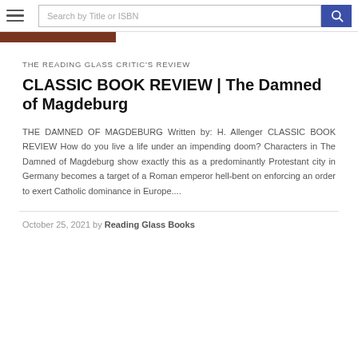Search by Title or ISBN
[Figure (photo): Partial image strip showing a dark reddish-brown book cover or photograph, cropped at top]
THE READING GLASS CRITIC'S REVIEW
CLASSIC BOOK REVIEW | The Damned of Magdeburg
THE DAMNED OF MAGDEBURG Written by: H. Allenger CLASSIC BOOK REVIEW How do you live a life under an impending doom? Characters in The Damned of Magdeburg show exactly this as a predominantly Protestant city in Germany becomes a target of a Roman emperor hell-bent on enforcing an order to exert Catholic dominance in Europe....
October 25, 2021 by Reading Glass Books